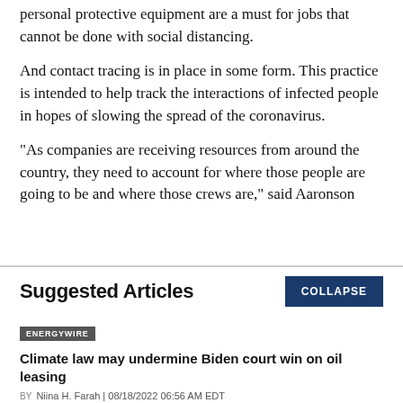personal protective equipment are a must for jobs that cannot be done with social distancing.
And contact tracing is in place in some form. This practice is intended to help track the interactions of infected people in hopes of slowing the spread of the coronavirus.
"As companies are receiving resources from around the country, they need to account for where those people are going to be and where those crews are," said Aaronson
Suggested Articles
COLLAPSE
ENERGYWIRE
Climate law may undermine Biden court win on oil leasing
BY Niina H. Farah | 08/18/2022 06:56 AM EDT
Read More >>
ENERGYWIRE
DOE outlines challenges for wind. Will the IRA help?